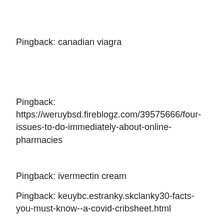Pingback: canadian viagra
Pingback: https://weruybsd.fireblogz.com/39575666/four-issues-to-do-immediately-about-online-pharmacies
Pingback: ivermectin cream
Pingback: keuybc.estranky.skclanky30-facts-you-must-know--a-covid-cribsheet.html
Pingback: ...